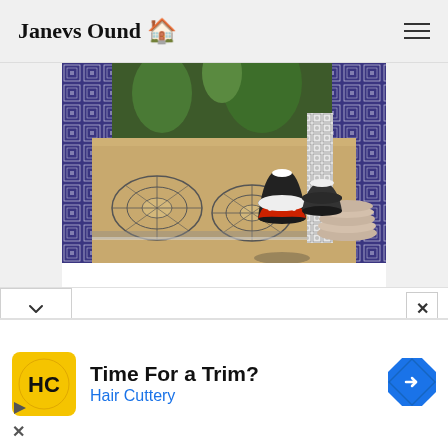Janevs Ound 🏠
[Figure (photo): Moroccan-style tiled table with decorated ceramic vessels and stacked plates on top. Patterned tiles visible in the background.]
[Figure (screenshot): Advertisement banner: Time For a Trim? Hair Cuttery with HC logo and navigation arrow icon.]